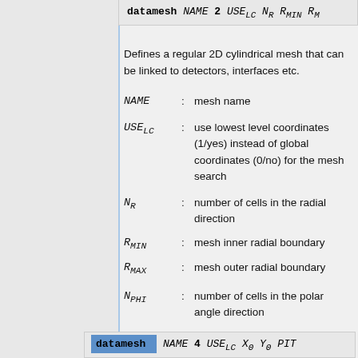datamesh NAME 2 USE_LC N_R R_MIN R_M
Defines a regular 2D cylindrical mesh that can be linked to detectors, interfaces etc.
| Parameter |  | Description |
| --- | --- | --- |
| NAME | : | mesh name |
| USE_LC | : | use lowest level coordinates (1/yes) instead of global coordinates (0/no) for the mesh search |
| N_R | : | number of cells in the radial direction |
| R_MIN | : | mesh inner radial boundary |
| R_MAX | : | mesh outer radial boundary |
| N_PHI | : | number of cells in the polar angle direction |
datamesh NAME 4 USE_LC X_Θ Y_Θ PIT